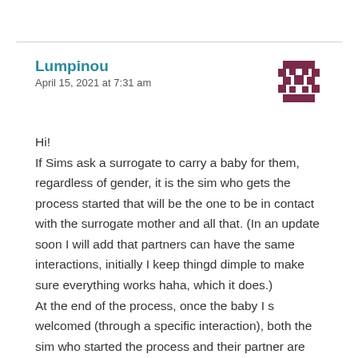Lumpinou
April 15, 2021 at 7:31 am
[Figure (illustration): Decorative pixel/geometric avatar icon in dark red/maroon color]
Hi!
If Sims ask a surrogate to carry a baby for them, regardless of gender, it is the sim who gets the process started that will be the one to be in contact with the surrogate mother and all that. (In an update soon I will add that partners can have the same interactions, initially I keep thingd dimple to make sure everything works haha, which it does.)
At the end of the process, once the baby I s welcomed (through a specific interaction), both the sim who started the process and their partner are listed as father or mother in the baby's relationship